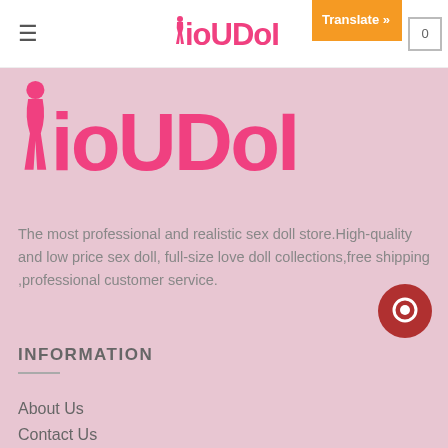≡  KoUboII  Translate »  0
[Figure (logo): KoUDoII brand logo in pink, large size on pink background]
The most professional and realistic sex doll store.High-quality and low price sex doll, full-size love doll collections,free shipping ,professional customer service.
INFORMATION
About Us
Contact Us